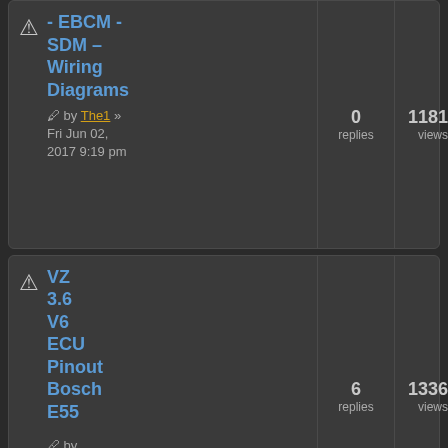EBCM - SDM - Wiring Diagrams | 0 replies | 11819 views | Last post by The1 | Fri Jun 02, 2017 9:19 pm | by The1 » Fri Jun 02, 2017 9:19 pm
VZ 3.6 V6 ECU Pinout Bosch E55 | 6 replies | 13369 views | Last post by Tazzi | Mon Oct 10, 2016 10:18 am | by DHW » Thu Oct 06, 2016 7:13 am